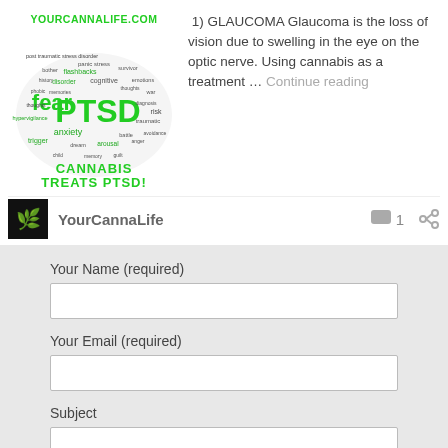[Figure (illustration): Word cloud in shape of a head/brain with PTSD in large green text, surrounded by related words like flashbacks, anxiety, fear, cognitive, traumatic, risk etc. Header says YOURCANNALIFE.COM in green, bottom says CANNABIS TREATS PTSD! in green block letters.]
1) GLAUCOMA Glaucoma is the loss of vision due to swelling in the eye on the optic nerve. Using cannabis as a treatment … Continue reading
YourCannaLife
1
Your Name (required)
Your Email (required)
Subject